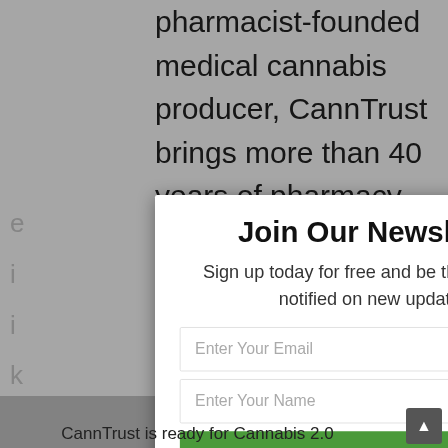pharmacist-founded medical cannabis producer, CannTrust brings more than 40 years of pharmacy and healthcare
[Figure (screenshot): Newsletter signup modal popup with title 'Join Our Newsletter', description text, email and name input fields, green SUBSCRIBE button, and privacy disclaimer. A close (X) button is in the top-right corner of the modal.]
CannTrust is ready for Cannabis 2.0